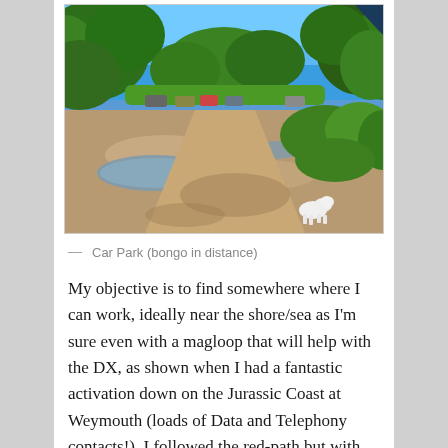[Figure (photo): Outdoor car park scene with a gravel/dirt surface showing puddles, surrounded by green trees under a blue sky. In the distance are parked cars. A white dog is visible in the foreground on the right side.]
— Car Park (bongo in distance)
My objective is to find somewhere where I can work, ideally near the shore/sea as I'm sure even with a magloop that will help with the DX, as shown when I had a fantastic activation down on the Jurassic Coast at Weymouth (loads of Data and Telephony contacts!), I followed the red-path but with the purple de-tour across the bay...